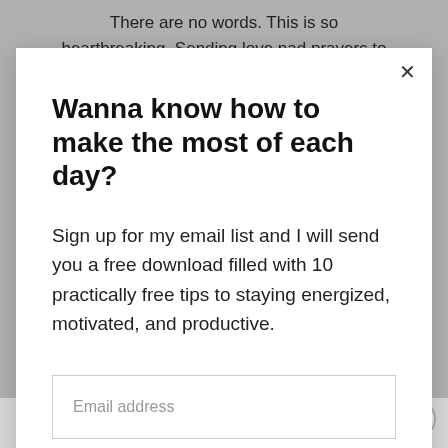There are no words. This is so heartbreaking. Sending love nad prayers to
Wanna know how to make the most of each day?
Sign up for my email list and I will send you a free download filled with 10 practically free tips to staying energized, motivated, and productive.
Email address
Subscribe